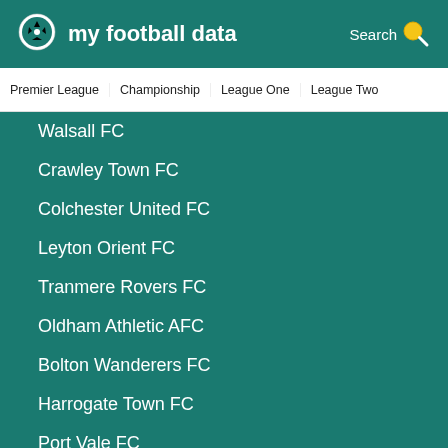my football data
Premier League  Championship  League One  League Two
Walsall FC
Crawley Town FC
Colchester United FC
Leyton Orient FC
Tranmere Rovers FC
Oldham Athletic AFC
Bolton Wanderers FC
Harrogate Town FC
Port Vale FC
Bradford City AFC